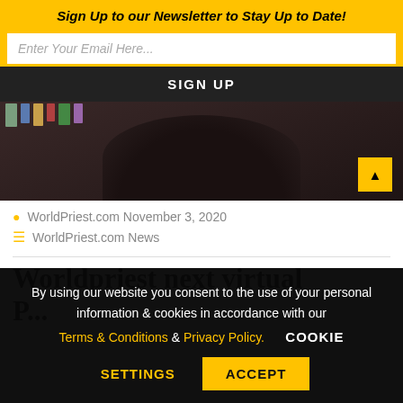Sign Up to our Newsletter to Stay Up to Date!
Enter Your Email Here...
SIGN UP
[Figure (photo): Back of a person's head wearing dark clothing, with bookshelves visible in the background]
WorldPriest.com November 3, 2020
WorldPriest.com News
Worldpriest next virtual
By using our website you consent to the use of your personal information & cookies in accordance with our Terms & Conditions & Privacy Policy.   COOKIE SETTINGS   ACCEPT